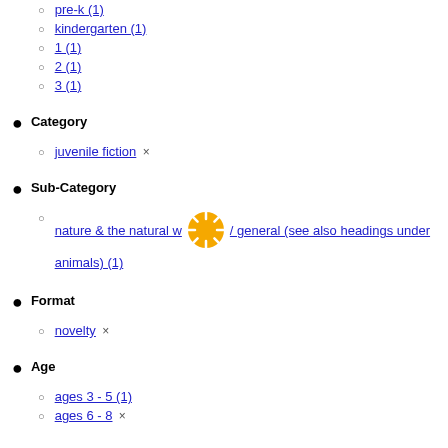pre-k (1)
kindergarten (1)
1 (1)
2 (1)
3 (1)
Category
juvenile fiction ×
Sub-Category
nature & the natural world / general (see also headings under animals) (1)
Format
novelty ×
Age
ages 3 - 5 (1)
ages 6 - 8 ×